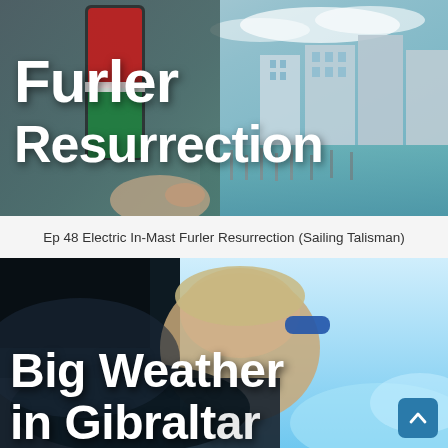[Figure (photo): Aerial/mast-top view of a sailboat with red and green navigation lights visible, marina with boats and waterfront buildings in background. Large white bold text overlay reads 'Furler Resurrection'.]
Ep 48 Electric In-Mast Furler Resurrection (Sailing Talisman)
[Figure (photo): Close-up of a person on a sailboat in rough weather conditions, bright sunlight and splashing water visible. Large white bold text overlay reads 'Big Weather in Gibraltar'.]